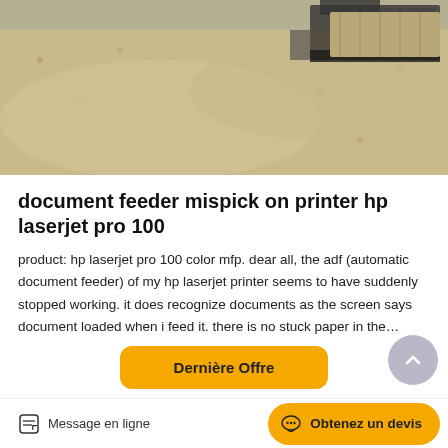[Figure (photo): Aerial or side view of sandy/gravelly terrain with heavy machinery (truck or construction vehicle) in the upper right area.]
document feeder mispick on printer hp laserjet pro 100
product: hp laserjet pro 100 color mfp. dear all, the adf (automatic document feeder) of my hp laserjet printer seems to have suddenly stopped working. it does recognize documents as the screen says document loaded when i feed it. there is no stuck paper in the…
[Figure (other): Orange/yellow rounded button labeled 'Dernière Offre']
[Figure (photo): Street-level photo of modern buildings and an orange/yellow architectural element, grey building facade.]
Message en ligne   Obtenez un devis